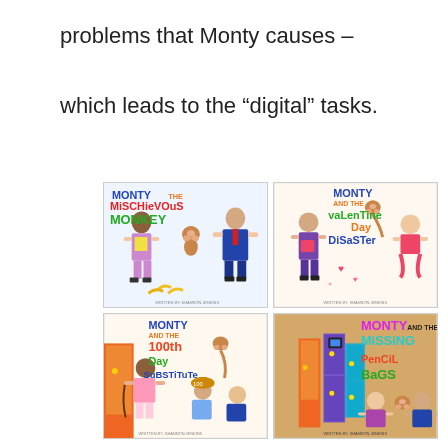problems that Monty causes – which leads to the “digital” tasks.
[Figure (illustration): Four book covers for the Monty series: 'Monty the Mischievous Monkey', 'Monty and the Valentine Day Disaster', 'Monty and the 100th Day Substitute', 'Monty and the Missing Pencil Bags', all written by Shannon Jenkins, shown in a 2x2 grid.]